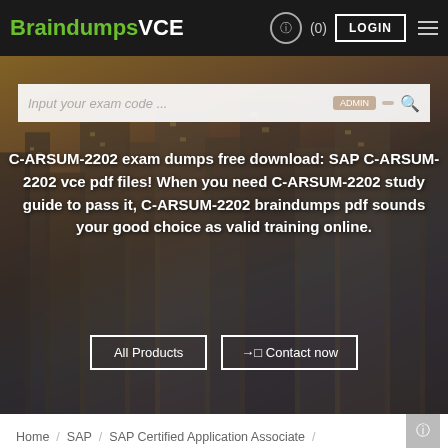BraindumpsVCE (0) LOGIN
[Figure (screenshot): City skyline hero image with search bar overlay and promotional text for C-ARSUM-2202 exam dumps]
C-ARSUM-2202 exam dumps free download: SAP C-ARSUM-2202 vce pdf files! When you need C-ARSUM-2202 study guide to pass it, C-ARSUM-2202 braindumps pdf sounds your good choice as valid training online.
Home / SAP / SAP Certified Application Associate / C-ARSUM-2202 Braindumps VCE